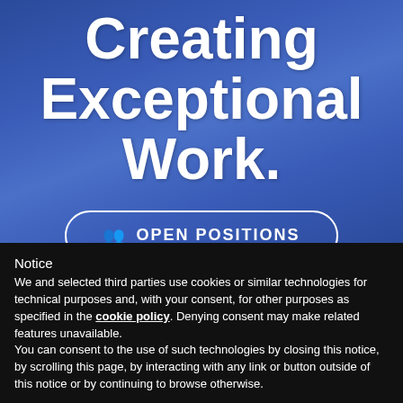Creating Exceptional Work.
👥 OPEN POSITIONS
Notice
We and selected third parties use cookies or similar technologies for technical purposes and, with your consent, for other purposes as specified in the cookie policy. Denying consent may make related features unavailable.
You can consent to the use of such technologies by closing this notice, by scrolling this page, by interacting with any link or button outside of this notice or by continuing to browse otherwise.